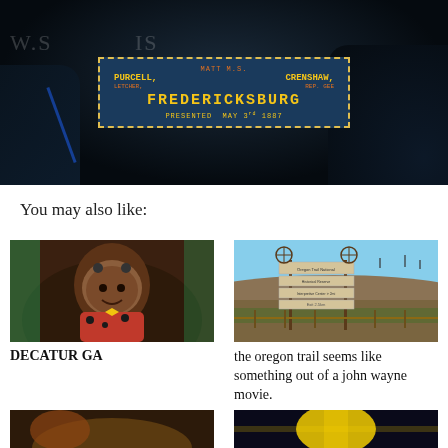[Figure (photo): Dark theater/cinema scene showing an old digital display screen with text: PURCELL, CRENSHAW, LETCHER, REP. GEE, FREDERICKSBURG, PRESENTED MAY 3rd 1887. Watermark text visible in background.]
You may also like:
[Figure (photo): Young Black girl dressed up, smiling, wearing a red and black spotted outfit with a yellow bow.]
DECATUR GA
[Figure (photo): Outdoor scene showing Oregon Trail signage with wagon wheel icons and text signs listing trail information, open prairie landscape in background.]
the oregon trail seems like something out of a john wayne movie.
[Figure (photo): Bottom left thumbnail - partially visible image]
[Figure (photo): Bottom right thumbnail - partially visible image with bright light/yellow tones]